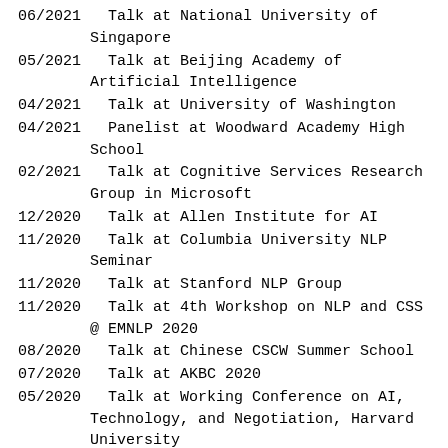06/2021   Talk at National University of Singapore
05/2021   Talk at Beijing Academy of Artificial Intelligence
04/2021   Talk at University of Washington
04/2021   Panelist at Woodward Academy High School
02/2021   Talk at Cognitive Services Research Group in Microsoft
12/2020   Talk at Allen Institute for AI
11/2020   Talk at Columbia University NLP Seminar
11/2020   Talk at Stanford NLP Group
11/2020   Talk at 4th Workshop on NLP and CSS @ EMNLP 2020
08/2020   Talk at Chinese CSCW Summer School
07/2020   Talk at AKBC 2020
05/2020   Talk at Working Conference on AI, Technology, and Negotiation, Harvard University
03/2020   Talk at Workshop on Machine Learning, Theory and Method in Social Sciences, Institute for